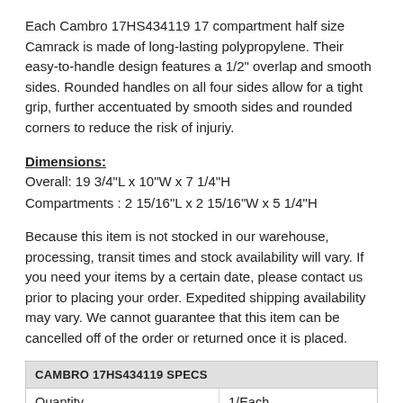Each Cambro 17HS434119 17 compartment half size Camrack is made of long-lasting polypropylene. Their easy-to-handle design features a 1/2" overlap and smooth sides. Rounded handles on all four sides allow for a tight grip, further accentuated by smooth sides and rounded corners to reduce the risk of injuriy.
Dimensions:
Overall: 19 3/4"L x 10"W x 7 1/4"H
Compartments : 2 15/16"L x 2 15/16"W x 5 1/4"H
Because this item is not stocked in our warehouse, processing, transit times and stock availability will vary. If you need your items by a certain date, please contact us prior to placing your order. Expedited shipping availability may vary. We cannot guarantee that this item can be cancelled off of the order or returned once it is placed.
| CAMBRO 17HS434119 SPECS |  |
| --- | --- |
| Quantity | 1/Each |
| Length | 19 3/4 Inches |